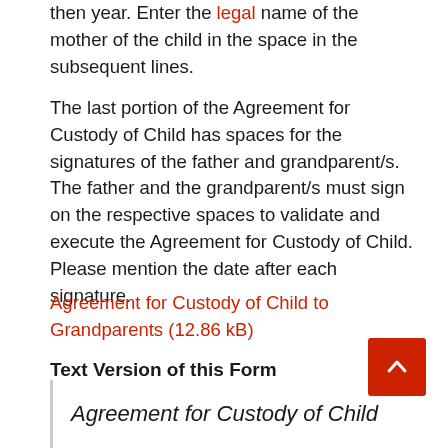then year. Enter the legal name of the mother of the child in the space in the subsequent lines.
The last portion of the Agreement for Custody of Child has spaces for the signatures of the father and grandparent/s. The father and the grandparent/s must sign on the respective spaces to validate and execute the Agreement for Custody of Child. Please mention the date after each signature.
Agreement for Custody of Child to Grandparents (12.86 kB)
Text Version of this Form
Agreement for Custody of Child